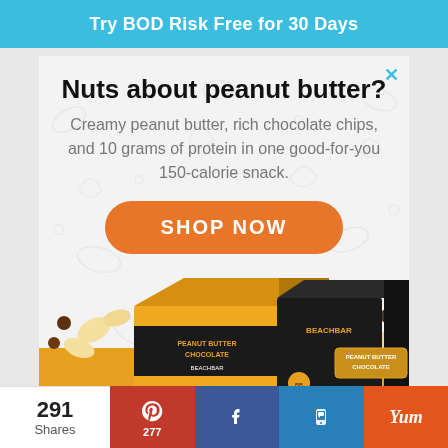Try BOD Risk Free for 30 Days
[Figure (infographic): Advertisement for BeachBar peanut butter chocolate protein bar. Shows 'Nuts about peanut butter?' headline, body copy about creamy peanut butter, rich chocolate chips, 10 grams of protein in a 150-calorie snack, a SHOP NOW button, and product box images at the bottom with peanuts and chocolate chips scattered around.]
291 Shares
277